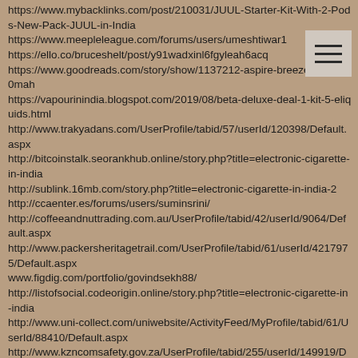https://www.mybacklinks.com/post/210031/JUUL-Starter-Kit-With-2-Pods-New-Pack-JUUL-in-India
https://www.meepleleague.com/forums/users/umeshtiwar1
https://ello.co/bruceshelt/post/y91wadxinl6fgyleah6acq
https://www.goodreads.com/story/show/1137212-aspire-breeze-aio-65
0mah
https://vapourinindia.blogspot.com/2019/08/beta-deluxe-deal-1-kit-5-eliquids.html
http://www.trakyadans.com/UserProfile/tabid/57/userId/120398/Default.aspx
http://bitcoinstalk.seorankhub.online/story.php?title=electronic-cigarette-in-india
http://sublink.16mb.com/story.php?title=electronic-cigarette-in-india-2
http://ccaenter.es/forums/users/suminsrini/
http://coffeeandnuttrading.com.au/UserProfile/tabid/42/userId/9064/Default.aspx
http://www.packersheritagetrail.com/UserProfile/tabid/61/userId/4217975/Default.aspx
www.figdig.com/portfolio/govindsekh88/
http://listofsocial.codeorigin.online/story.php?title=electronic-cigarette-in-india
http://www.uni-collect.com/uniwebsite/ActivityFeed/MyProfile/tabid/61/UserId/88410/Default.aspx
http://www.kzncomsafety.gov.za/UserProfile/tabid/255/userId/149919/Default.aspx
http://www.lasvegasice.com/ActivityFeed/MyProfile/tabid/62/UserId/54270/Default.aspx
http://www.stanica.org.pl/Mirprofil/tabid/42/userId/32848/Defau...
[Figure (other): Hamburger menu icon (three horizontal lines) on a light beige/gray background square]